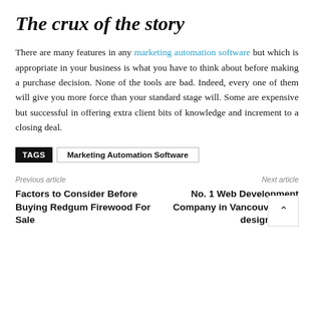The crux of the story
There are many features in any marketing automation software but which is appropriate in your business is what you have to think about before making a purchase decision. None of the tools are bad. Indeed, every one of them will give you more force than your standard stage will. Some are expensive but successful in offering extra client bits of knowledge and increment to a closing deal.
TAGS  Marketing Automation Software
Previous article
Factors to Consider Before Buying Redgum Firewood For Sale
Next article
No. 1 Web Development Company in Vancouver web design comp